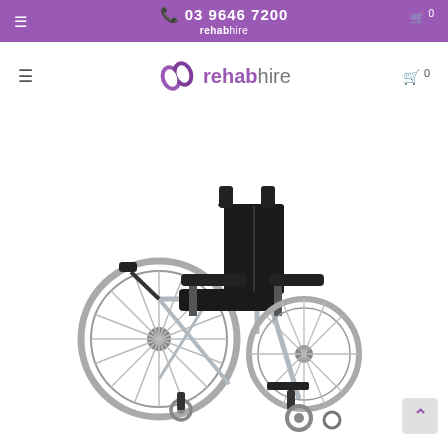03 9646 7200 - rehabhire
[Figure (logo): Rehabhire logo with purple swirl icon and text 'rehabhire' in purple and gray]
[Figure (photo): Manual wheelchair with black upholstery, aluminum/silver frame, large rear wheels with spokes, small front caster wheels, padded armrests, and footrests. White background product photo.]